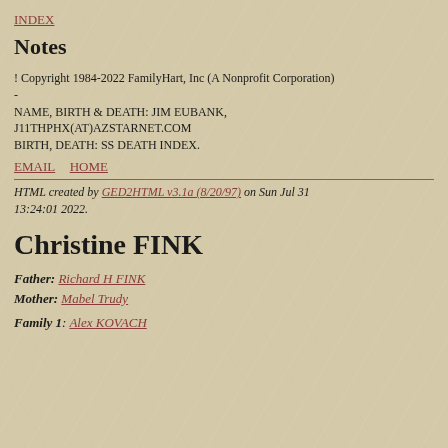INDEX
Notes
! Copyright 1984-2022 FamilyHart, Inc (A Nonprofit Corporation)
-
NAME, BIRTH & DEATH: JIM EUBANK, J11THPHX(AT)AZSTARNET.COM
BIRTH, DEATH: SS DEATH INDEX.
EMAIL  HOME
HTML created by GED2HTML v3.1a (8/20/97) on Sun Jul 31 13:24:01 2022.
Christine FINK
Father: Richard H FINK
Mother: Mabel Trudy
Family 1: Alex KOVACH